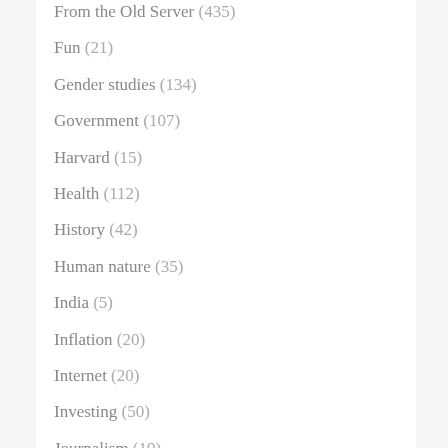From the Old Server (435)
Fun (21)
Gender studies (134)
Government (107)
Harvard (15)
Health (112)
History (42)
Human nature (35)
India (5)
Inflation (20)
Internet (20)
Investing (50)
Journalism (19)